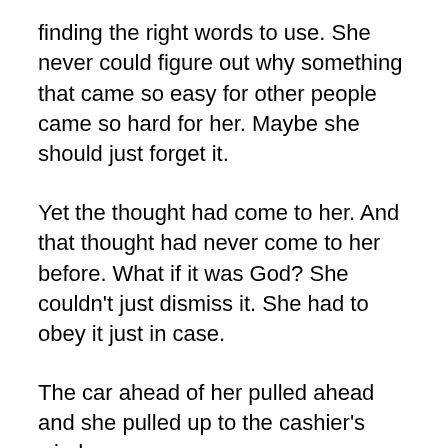finding the right words to use. She never could figure out why something that came so easy for other people came so hard for her. Maybe she should just forget it.
Yet the thought had come to her. And that thought had never come to her before. What if it was God? She couldn't just dismiss it. She had to obey it just in case.
The car ahead of her pulled ahead and she pulled up to the cashier's window.
“$5.28,” the cashier said.
As she handed her debit card to the cashier, she